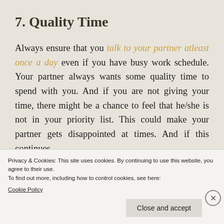7. Quality Time
Always ensure that you talk to your partner atleast once a day even if you have busy work schedule. Your partner always wants some quality time to spend with you. And if you are not giving your time, there might be a chance to feel that he/she is not in your priority list. This could make your partner gets disappointed at times. And if this continues
Privacy & Cookies: This site uses cookies. By continuing to use this website, you agree to their use.
To find out more, including how to control cookies, see here:
Cookie Policy
Close and accept